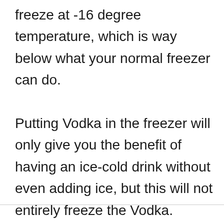freeze at -16 degree temperature, which is way below what your normal freezer can do.

Putting Vodka in the freezer will only give you the benefit of having an ice-cold drink without even adding ice, but this will not entirely freeze the Vodka.